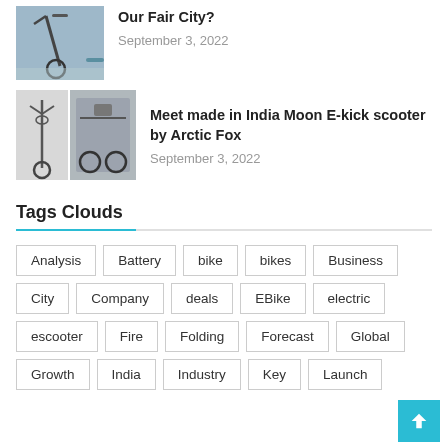[Figure (photo): Photo of an electric scooter handlebar/post on a sidewalk]
Our Fair City?
September 3, 2022
[Figure (photo): Two photos side by side of the Moon E-kick scooter by Arctic Fox]
Meet made in India Moon E-kick scooter by Arctic Fox
September 3, 2022
Tags Clouds
Analysis
Battery
bike
bikes
Business
City
Company
deals
EBike
electric
escooter
Fire
Folding
Forecast
Global
Growth
India
Industry
Key
Launch